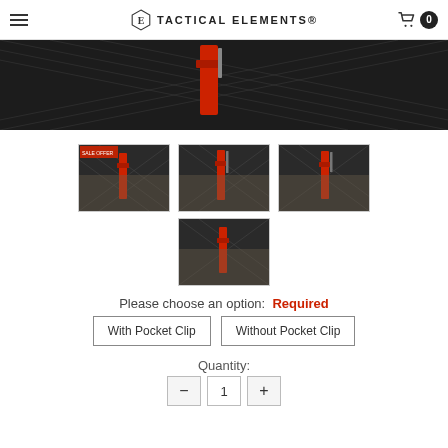TACTICAL ELEMENTS
[Figure (photo): Close-up of red tactical tool/knife on dark diamond-plate metal surface]
[Figure (photo): Thumbnail 1: Red tactical tool with sale tag overlay on dark background]
[Figure (photo): Thumbnail 2: Red tactical tool on dark background]
[Figure (photo): Thumbnail 3: Red tactical tool on dark background]
[Figure (photo): Thumbnail 4: Red tactical tool on dark background, bottom center]
Please choose an option:  Required
With Pocket Clip
Without Pocket Clip
Quantity:
1